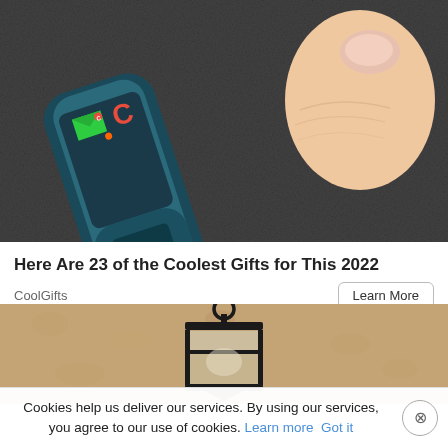[Figure (photo): Close-up photo of a Nokia phone with a green envelope icon and red C icon on the screen, being held by a thumb. Text 'NOKIA' and 'FIT.' visible on the device. Dark textured background.]
Here Are 23 of the Coolest Gifts for This 2022
CoolGifts
Learn More
[Figure (photo): Photo of a black vintage-style outdoor wall lantern mounted on a beige/tan textured stucco wall.]
Cookies help us deliver our services. By using our services, you agree to our use of cookies. Learn more Got it